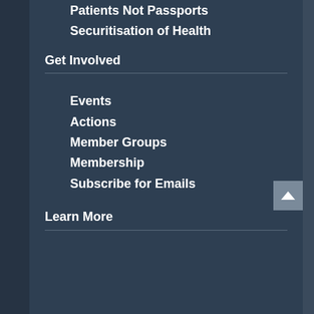Patients Not Passports
Securitisation of Health
Get Involved
Events
Actions
Member Groups
Membership
Subscribe for Emails
Learn More